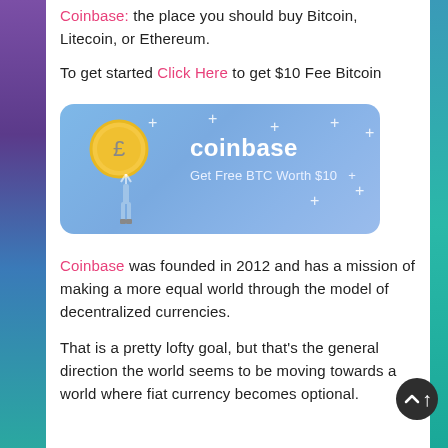Coinbase: the place you should buy Bitcoin, Litecoin, or Ethereum.
To get started Click Here to get $10 Fee Bitcoin
[Figure (illustration): Coinbase promotional banner with a coin showing pound sign, a stylized person figure, sparkles, and text 'coinbase Get Free BTC Worth $10' on a blue gradient background]
Coinbase was founded in 2012 and has a mission of making a more equal world through the model of decentralized currencies.
That is a pretty lofty goal, but that's the general direction the world seems to be moving towards a world where fiat currency becomes optional.